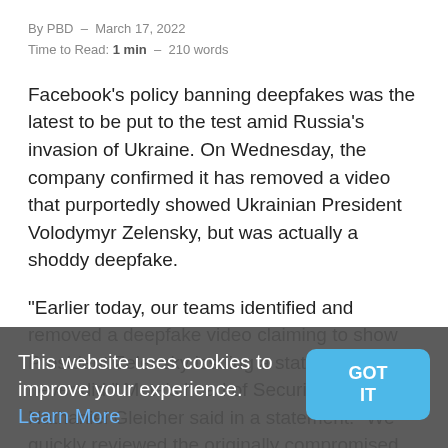By PBD  -  March 17, 2022
Time to Read: 1 min  -  210 words
Facebook's policy banning deepfakes was the latest to be put to the test amid Russia's invasion of Ukraine. On Wednesday, the company confirmed it has removed a video that purportedly showed Ukrainian President Volodymyr Zelensky, but was actually a shoddy deepfake.
"Earlier today, our teams identified and removed a deepfake video claiming to show President Zelensky issuing a statement he never did." Meta's head of Security Policy Nathaniel Gleicher said in a statement. "We quickly reviewed the originally compromised website and then started showing across the internet." He said the company pulled the video in line
This website uses cookies to improve your experience. Learn More